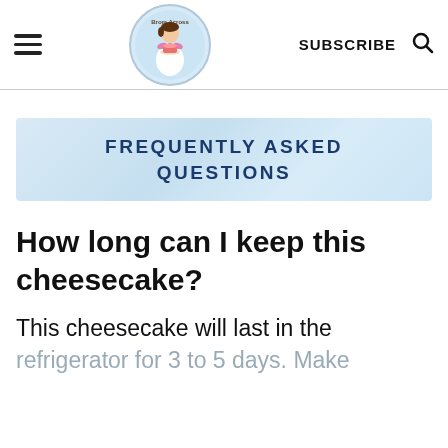SUBSCRIBE
FREQUENTLY ASKED QUESTIONS
How long can I keep this cheesecake?
This cheesecake will last in the refrigerator for 3 to 5 days. Make sure to store it well covered.